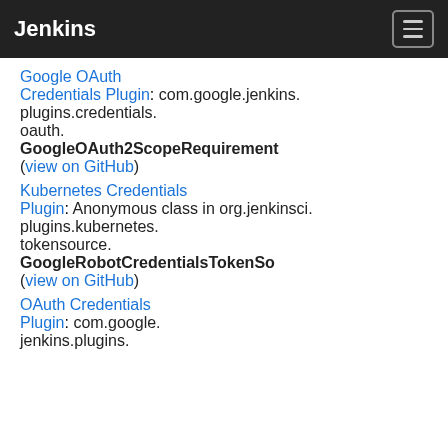Jenkins
Google OAuth Credentials Plugin: com.google.jenkins.plugins.credentials.oauth.GoogleOAuth2ScopeRequirement (view on GitHub)
Kubernetes Credentials Plugin: Anonymous class in org.jenkinsci.plugins.kubernetes.tokensource.GoogleRobotCredentialsTokenSo... (view on GitHub)
OAuth Credentials Plugin: com.google.jenkins.plugins...